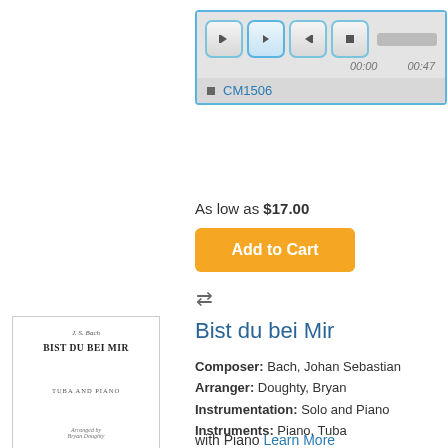[Figure (screenshot): Audio player widget with play controls (rewind, play, fast-forward, stop), progress bar, time display (00:00, 00:47), and track listing showing CM1506]
As low as $17.00
Add to Cart
[Figure (illustration): Sheet music cover for 'Bist du bei Mir' by J.S. Bach, arranged by Bryan Doughty, for Tuba and Piano, published by Chadburn Music Press]
Bist du bei Mir
Composer: Bach, Johan Sebastian
Arranger: Doughty, Bryan
Instrumentation: Solo and Piano
Instruments: Piano, Tuba
Genre: Baroque
with Piano Learn More